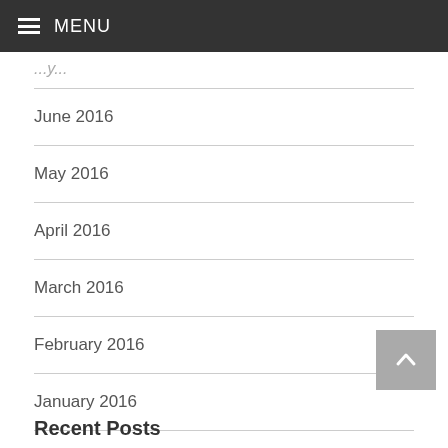MENU
June 2016
May 2016
April 2016
March 2016
February 2016
January 2016
Recent Posts